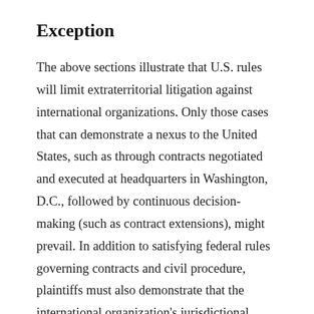Exception
The above sections illustrate that U.S. rules will limit extraterritorial litigation against international organizations. Only those cases that can demonstrate a nexus to the United States, such as through contracts negotiated and executed at headquarters in Washington, D.C., followed by continuous decision-making (such as contract extensions), might prevail. In addition to satisfying federal rules governing contracts and civil procedure, plaintiffs must also demonstrate that the international organization's jurisdictional immunity under the IOIA should be restricted. [215] As